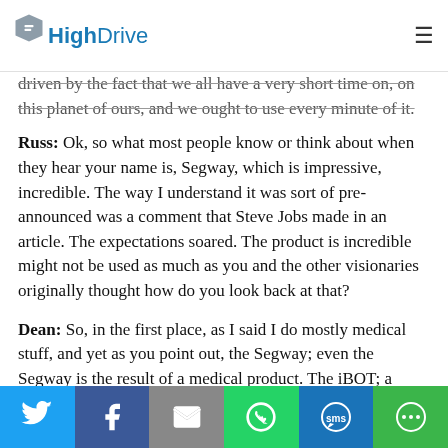HighDrive
driven by the fact that we all have a very short time on, on this planet of ours, and we ought to use every minute of it.
Russ: Ok, so what most people know or think about when they hear your name is, Segway, which is impressive, incredible. The way I understand it was sort of pre-announced was a comment that Steve Jobs made in an article. The expectations soared. The product is incredible might not be used as much as you and the other visionaries originally thought how do you look back at that?
Dean: So, in the first place, as I said I do mostly medical stuff, and yet as you point out, the Segway; even the Segway is the result of a medical product. The iBOT; a
[Figure (other): Social sharing bar with Twitter, Facebook, Email, WhatsApp, SMS, and More buttons]